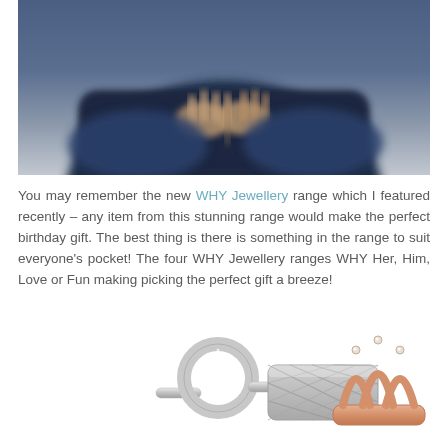[Figure (photo): Blurred close-up photo of a person in dark blue clothing, hands clasped together holding something, dark background with blue tones]
You may remember the new WHY Jewellery range which I featured recently – any item from this stunning range would make the perfect birthday gift. The best thing is there is something in the range to suit everyone's pocket! The four WHY Jewellery ranges WHY Her, Him, Love or Fun making picking the perfect gift a breeze!
[Figure (photo): Photo of assorted WHY Jewellery rings including a silver circle ring with diamonds, a silver lattice band ring, and a rose gold crown-style ring with diamond accents, displayed on white background]